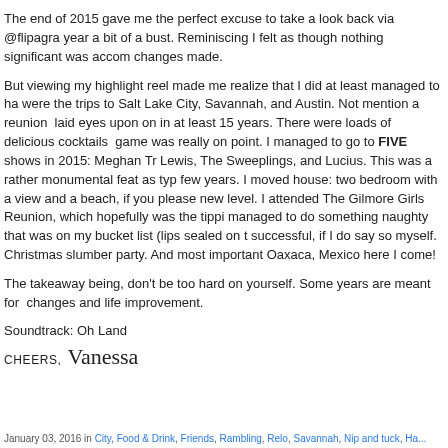The end of 2015 gave me the perfect excuse to take a look back via @flipagra... year a bit of a bust. Reminiscing I felt as though nothing significant was accom... changes made.
But viewing my highlight reel made me realize that I did at least managed to ha... were the trips to Salt Lake City, Savannah, and Austin. Not mention a reunion ... laid eyes upon on in at least 15 years. There were loads of delicious cocktails ... game was really on point. I managed to go to FIVE shows in 2015: Meghan Tr... Lewis, The Sweeplings, and Lucius. This was a rather monumental feat as typ... few years. I moved house: two bedroom with a view and a beach, if you please... new level. I attended The Gilmore Girls Reunion, which hopefully was the tippi... managed to do something naughty that was on my bucket list (lips sealed on t... successful, if I do say so myself. Christmas slumber party. And most important... Oaxaca, Mexico here I come!
The takeaway being, don't be too hard on yourself. Some years are meant for ... changes and life improvement.
Soundtrack: Oh Land
Cheers, Vanessa
January 03, 2016 in City, Food & Drink, Friends, Rambling, Relo, Savannah, Nip and tuck, Ha...